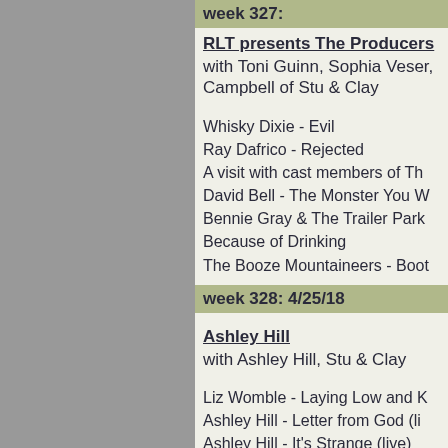week 327: (date cut off)
RLT presents The Producers
with Toni Guinn, Sophia Veser, Campbell of Stu & Clay
Whisky Dixie - Evil
Ray Dafrico - Rejected
A visit with cast members of Th...
David Bell - The Monster You W...
Bennie Gray & The Trailer Park...
Because of Drinking
The Booze Mountaineers - Boot...
week 328: 4/25/18
Ashley Hill
with Ashley Hill, Stu & Clay
Liz Womble - Laying Low and K...
Ashley Hill - Letter from God (li...
Ashley Hill - It's Strange (live)
Ashley Hill - Doesn't Matter Any...
Ashley Hill - The Thrill is Gone ...
Ashley Hill - Unchain My Heart